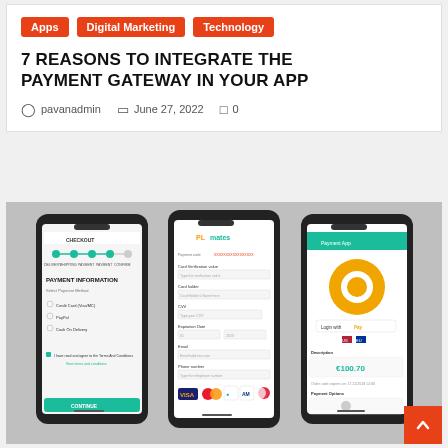Apps
Digital Marketing
Technology
7 REASONS TO INTEGRATE THE PAYMENT GATEWAY IN YOUR APP
pavanadmin  June 27, 2022  0
[Figure (photo): Three smartphones displaying payment gateway app screens: checkout payment information screen, credit card entry form, and a payment app with orange logo and payment options.]